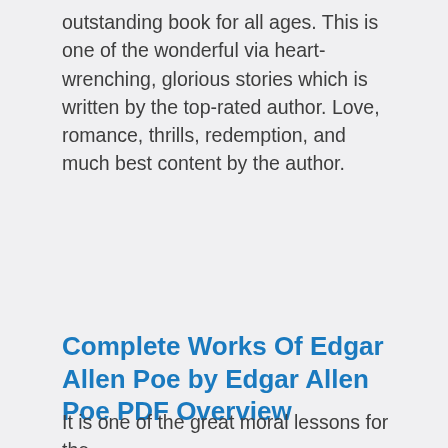outstanding book for all ages. This is one of the wonderful via heart-wrenching, glorious stories which is written by the top-rated author. Love, romance, thrills, redemption, and much best content by the author.
Complete Works Of Edgar Allen Poe by Edgar Allen Poe PDF Overview
It is one of the great moral lessons for the